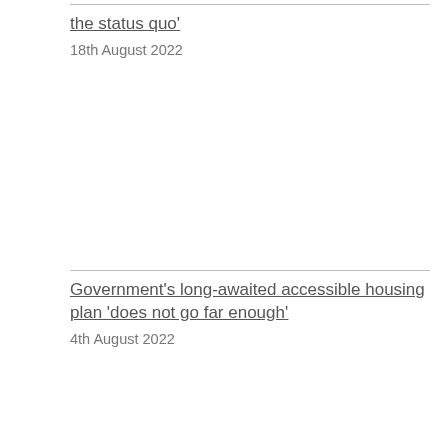the status quo'
18th August 2022
Government's long-awaited accessible housing plan 'does not go far enough'
4th August 2022